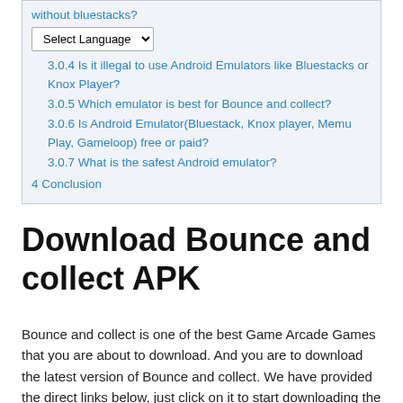without bluestacks?
3.0.4 Is it illegal to use Android Emulators like Bluestacks or Knox Player?
3.0.5 Which emulator is best for Bounce and collect?
3.0.6 Is Android Emulator(Bluestack, Knox player, Memu Play, Gameloop) free or paid?
3.0.7 What is the safest Android emulator?
4 Conclusion
Download Bounce and collect APK
Bounce and collect is one of the best Game Arcade Games that you are about to download. And you are to download the latest version of Bounce and collect. We have provided the direct links below, just click on it to start downloading the App now.